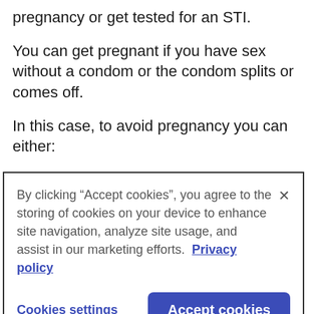pregnancy or get tested for an STI.
You can get pregnant if you have sex without a condom or the condom splits or comes off.
In this case, to avoid pregnancy you can either:
take the emergency contraceptive pill,
By clicking “Accept cookies”, you agree to the storing of cookies on your device to enhance site navigation, analyze site usage, and assist in our marketing efforts. Privacy policy
Cookies settings
Accept cookies